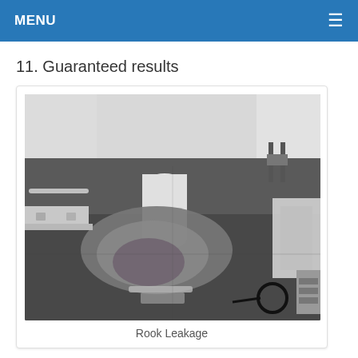MENU
11. Guaranteed results
[Figure (photo): Indoor room with dark gray carpet/flooring showing a large wet stain or water leakage area. A white cylindrical column is visible in the background, along with white walls, a chair, and some equipment/cables on the floor. The wet area appears as a lighter irregular patch on the dark floor.]
Rook Leakage